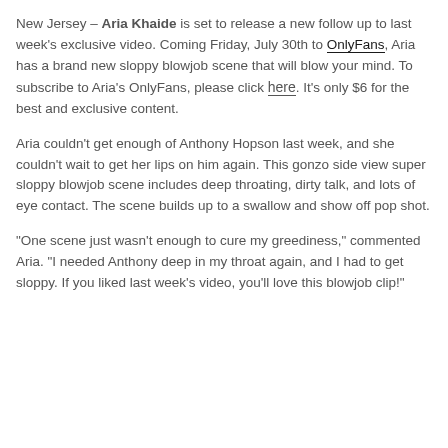New Jersey – Aria Khaide is set to release a new follow up to last week's exclusive video. Coming Friday, July 30th to OnlyFans, Aria has a brand new sloppy blowjob scene that will blow your mind. To subscribe to Aria's OnlyFans, please click here. It's only $6 for the best and exclusive content.
Aria couldn't get enough of Anthony Hopson last week, and she couldn't wait to get her lips on him again. This gonzo side view super sloppy blowjob scene includes deep throating, dirty talk, and lots of eye contact. The scene builds up to a swallow and show off pop shot.
“One scene just wasn’t enough to cure my greediness,” commented Aria. “I needed Anthony deep in my throat again, and I had to get sloppy. If you liked last week’s video, you'll love this blowjob clip!”